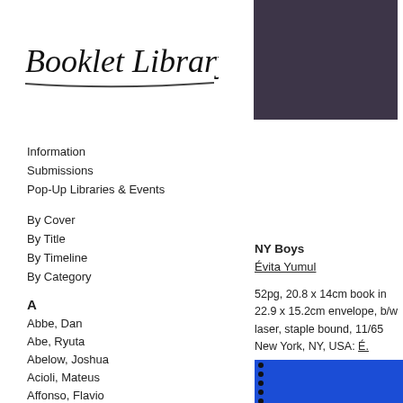[Figure (logo): Booklet Library handwritten script logo with underline]
Information
Submissions
Pop-Up Libraries & Events
By Cover
By Title
By Timeline
By Category
[Figure (photo): Dark purple/navy book cover image]
A
Abbe, Dan
Abe, Ryuta
Abelow, Joshua
Acioli, Mateus
Affonso, Flavio
Agasi, David
Ahn, Nina
Ainsworth, Nick
Åkum, Fredrik
Album
Alekseenko, Alexander
Alemán, Gustavo
NY Boys
Évita Yumul
52pg, 20.8 x 14cm book in 22.9 x 15.2cm envelope, b/w laser, staple bound, 11/65
New York, NY, USA: É. Yumul, 2014
[Figure (photo): Blue book with spiral binding on left side]